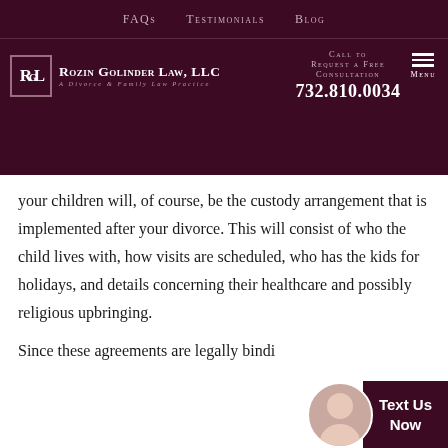FAQs   Testimonials   Blog
[Figure (logo): Rozin Golinder Law, LLC logo with RGL monogram in bordered box. Tagline: A Divorce & Family Law Practice]
Call to Request a Free Consultation 732.810.0034
your children will, of course, be the custody arrangement that is implemented after your divorce. This will consist of who the child lives with, how visits are scheduled, who has the kids for holidays, and details concerning their healthcare and possibly religious upbringing.
Since these agreements are legally bindi...